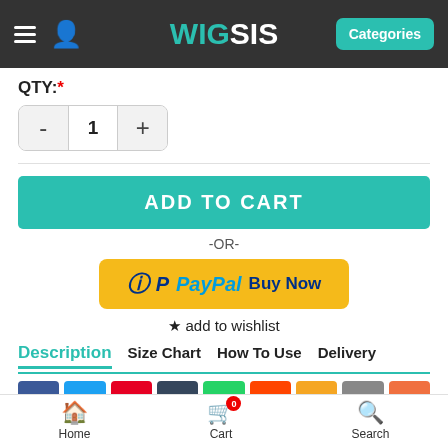WIGSIS — Categories
QTY: *
- 1 +
ADD TO CART
-OR-
[Figure (other): PayPal Buy Now button with yellow background]
★ add to wishlist
Description  Size Chart  How To Use  Delivery
[Figure (other): Social sharing icons row: Facebook, Twitter, Pinterest, Tumblr, WhatsApp, Reddit, Favorites star, Email, More]
★★★★☆ 9 Review(s) / Add Your Review
Material: Heat Friendly Synthetic; Show: 26G
Home  Cart (0)  Search